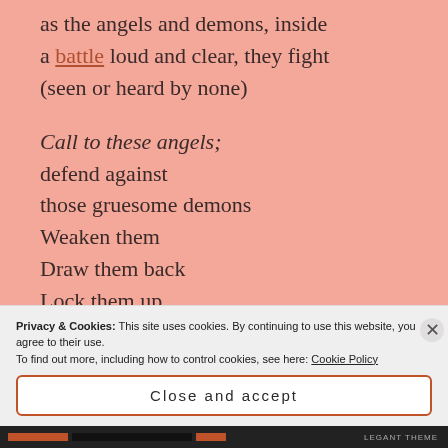as the angels and demons, inside a battle loud and clear, they fight (seen or heard by none)

Call to these angels;
defend against
those gruesome demons
Weaken them
Draw them back
Lock them up,
back in the cage
Privacy & Cookies: This site uses cookies. By continuing to use this website, you agree to their use. To find out more, including how to control cookies, see here: Cookie Policy
Close and accept